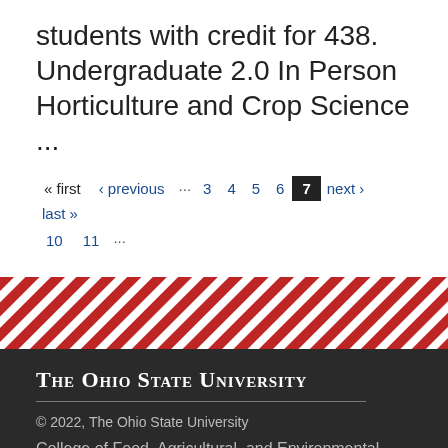students with credit for 438. Undergraduate 2.0 In Person Horticulture and Crop Science ...
« first ‹ previous … 3 4 5 6 7 next › last » 10 11 …
[Figure (other): Diagonal red and white stripe decorative band]
The Ohio State University
© 2022, The Ohio State University
College of Food, Agricultural, and Environmental Sciences